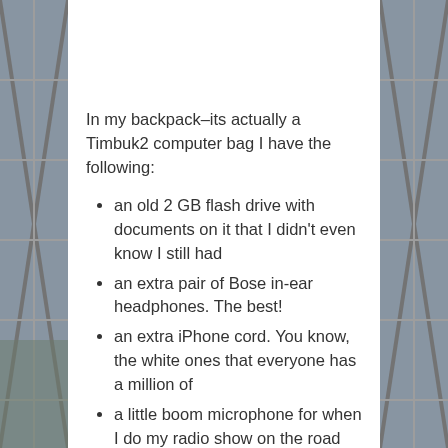[Figure (photo): Background photo of structural steel girders/scaffolding visible on the left and right sides of the page, partially obscured, dark gray tones.]
In my backpack–its actually a Timbuk2 computer bag I have the following:
an old 2 GB flash drive with documents on it that I didn't even know I still had
an extra pair of Bose in-ear headphones. The best!
an extra iPhone cord. You know, the white ones that everyone has a million of
a little boom microphone for when I do my radio show on the road
a pack of gum
the lens cap to my camera
a mini USB…